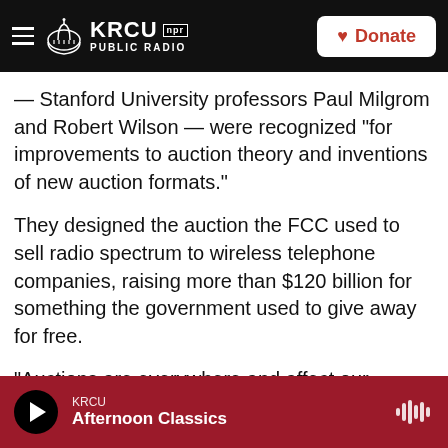KRCU PUBLIC RADIO | NPR | Donate
— Stanford University professors Paul Milgrom and Robert Wilson — were recognized "for improvements to auction theory and inventions of new auction formats."
They designed the auction the FCC used to sell radio spectrum to wireless telephone companies, raising more than $120 billion for something the government used to give away for free.
"Auctions are everywhere and affect our everyday lives," the prize committee said in a statement. Milgrom and Wilson's work "benefit[s] sellers,
KRCU | Afternoon Classics